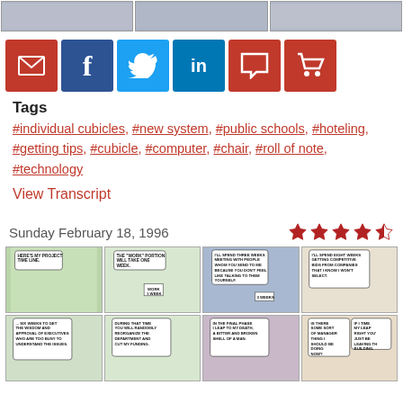[Figure (illustration): Top portion of a comic strip showing partial panels with office/Dilbert-style characters]
[Figure (infographic): Social sharing buttons: email (red envelope), Facebook (blue f), Twitter (blue bird), LinkedIn (blue in), comment (red speech bubble), cart (red shopping cart)]
Tags
#individual cubicles, #new system, #public schools, #hoteling, #getting tips, #cubicle, #computer, #chair, #roll of note, #technology
View Transcript
Sunday February 18, 1996
[Figure (illustration): Star rating: 4 out of 5 stars (4 full red stars and 1 half star)]
[Figure (illustration): 8-panel Dilbert comic strip grid showing project timeline discussion in office setting]